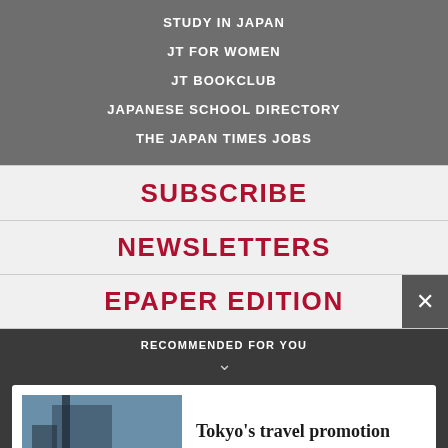STUDY IN JAPAN
JT FOR WOMEN
JT BOOKCLUB
JAPANESE SCHOOL DIRECTORY
THE JAPAN TIMES JOBS
SUBSCRIBE
NEWSLETTERS
EPAPER EDITION
RECOMMENDED FOR YOU
Tokyo's travel promotion campaign to resume on Sept. 1